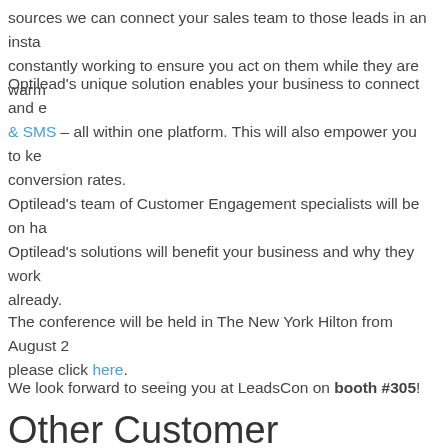sources we can connect your sales team to those leads in an instant, constantly working to ensure you act on them while they are warm
Optilead's unique solution enables your business to connect and e... & SMS – all within one platform. This will also empower you to ke... conversion rates.
Optilead's team of Customer Engagement specialists will be on ha... Optilead's solutions will benefit your business and why they work ... already.
The conference will be held in The New York Hilton from August 2... please click here.
We look forward to seeing you at LeadsCon on booth #305!
Other Customer Engagement a...